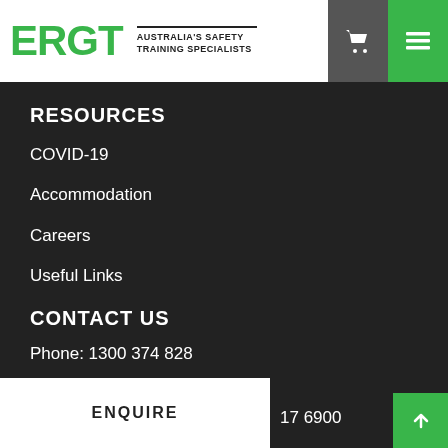[Figure (logo): ERGT logo with green text and tagline: AUSTRALIA'S SAFETY TRAINING SPECIALISTS]
RESOURCES
COVID-19
Accommodation
Careers
Useful Links
CONTACT US
Phone: 1300 374 828
ENQUIRE
17 6900